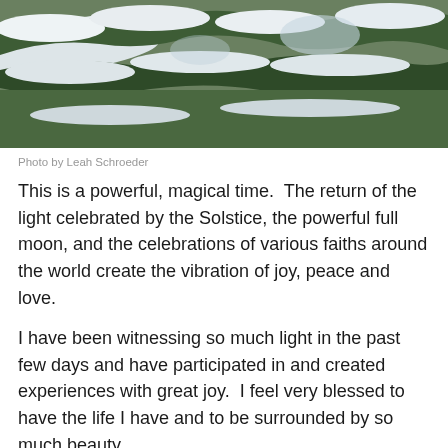[Figure (photo): Snow-covered pine tree branches with green needles visible beneath white snow against a light sky background.]
Photo by Leah Schroeder
This is a powerful, magical time.  The return of the light celebrated by the Solstice, the powerful full moon, and the celebrations of various faiths around the world create the vibration of joy, peace and love.
I have been witnessing so much light in the past few days and have participated in and created experiences with great joy.  I feel very blessed to have the life I have and to be surrounded by so much beauty.
I have been thinking of my mother a lot in the past few days.  She transitioned to Spirit a month and a half ago...